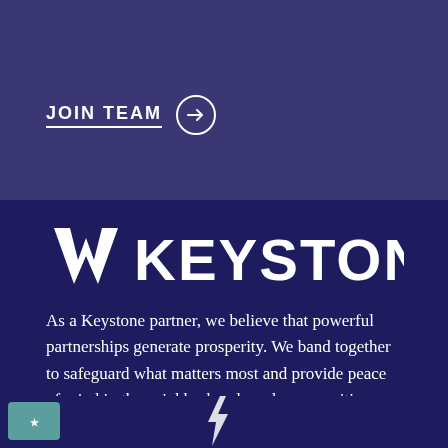JOIN TEAM →
[Figure (logo): Keystone logo with stylized 'WW' mark and bold KEYSTONE wordmark in white on dark navy background]
As a Keystone partner, we believe that powerful partnerships generate prosperity. We band together to safeguard what matters most and provide peace of mind in the neighborhoods and communities where we live and work.
[Figure (logo): Small badge/icon at bottom left and lightning bolt icon at bottom center]